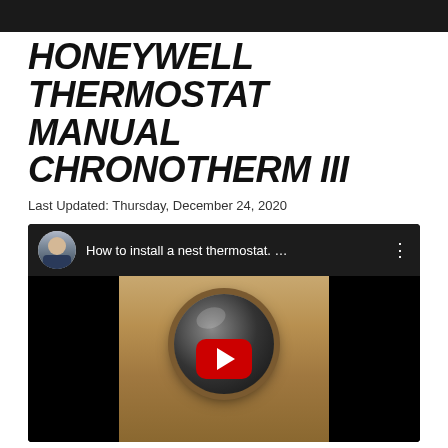HONEYWELL THERMOSTAT MANUAL CHRONOTHERM III
Last Updated: Thursday, December 24, 2020
[Figure (screenshot): Embedded YouTube video player showing 'How to install a nest thermostat. ...' with a thumbnail of a round Nest thermostat device on a wall, YouTube play button overlay, and user avatar in the top bar.]